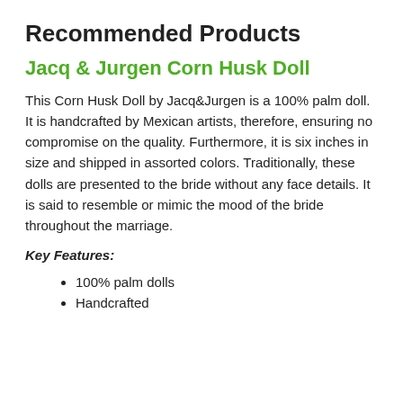Recommended Products
Jacq & Jurgen Corn Husk Doll
This Corn Husk Doll by Jacq&Jurgen is a 100% palm doll. It is handcrafted by Mexican artists, therefore, ensuring no compromise on the quality. Furthermore, it is six inches in size and shipped in assorted colors. Traditionally, these dolls are presented to the bride without any face details. It is said to resemble or mimic the mood of the bride throughout the marriage.
Key Features:
100% palm dolls
Handcrafted